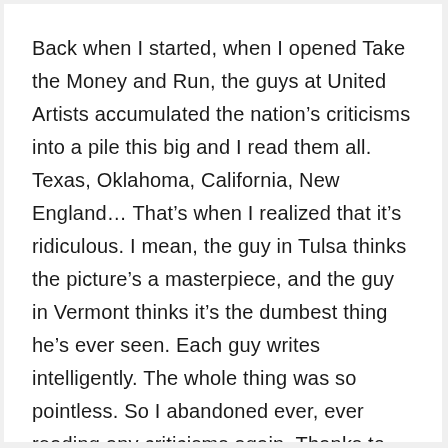Back when I started, when I opened Take the Money and Run, the guys at United Artists accumulated the nation’s criticisms into a pile this big and I read them all. Texas, Oklahoma, California, New England… That’s when I realized that it’s ridiculous. I mean, the guy in Tulsa thinks the picture’s a masterpiece, and the guy in Vermont thinks it’s the dumbest thing he’s ever seen. Each guy writes intelligently. The whole thing was so pointless. So I abandoned ever, ever reading any criticisms again. Thanks to my mother, I haven’t wasted any time dwelling on whether